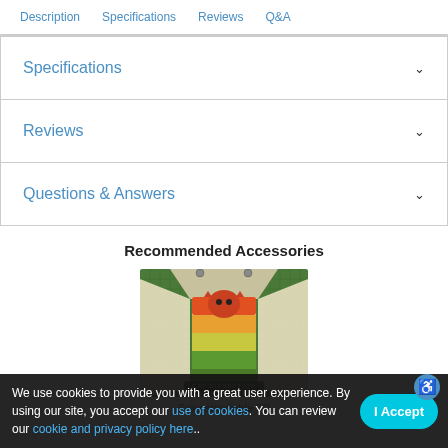Description   Specifications   Reviews   Q&A
Specifications
Reviews
Questions & Answers
Recommended Accessories
[Figure (photo): Photo of a cat dissection 3D paper model kit on a green cutting mat, with cardboard/paper pieces fanned out around a colorful anatomical illustration of a cat.]
Scienstructable 3D
We use cookies to provide you with a great user experience. By using our site, you accept our use of cookies. You can review our cookie and privacy policy here.